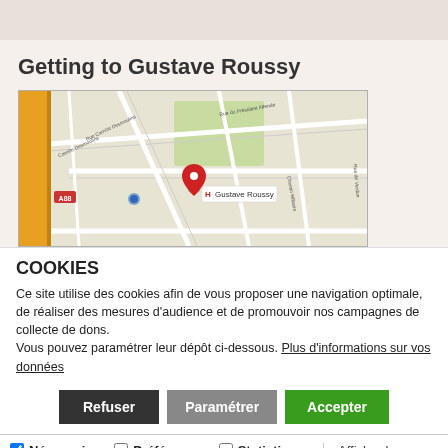Getting to Gustave Roussy
[Figure (map): Google Maps screenshot showing the location of Gustave Roussy hospital with a red map pin marker labeled 'H Gustave Roussy', surrounded by streets including Rue du Président Allende, Chemin Militaire, and Rue de Verdun. An orange highway is visible on the left edge.]
COOKIES
Ce site utilise des cookies afin de vous proposer une navigation optimale, de réaliser des mesures d'audience et de promouvoir nos campagnes de collecte de dons.
Vous pouvez paramétrer leur dépôt ci-dessous. Plus d'informations sur vos données
Refuser | Paramétrer | Accepter
✓ Nécessaires  □ Préférences  □ Statistiques | □ Marketing | Afficher les détails